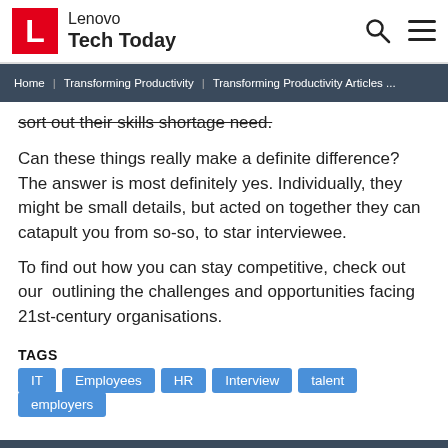Lenovo Tech Today
Home | Transforming Productivity | Transforming Productivity Articles ...
sort out their skills shortage need.
Can these things really make a definite difference? The answer is most definitely yes. Individually, they might be small details, but acted on together they can catapult you from so-so, to star interviewee.
To find out how you can stay competitive, check out our  outlining the challenges and opportunities facing 21st-century organisations.
TAGS
IT
Employees
HR
Interview
talent
employers